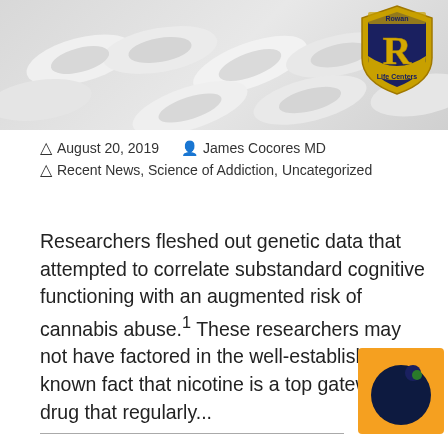[Figure (photo): Header image showing white pills/capsules in background with a gold and navy shield logo for 'Rowan Life Centers' in the top right corner]
August 20, 2019   James Cocores MD
Recent News, Science of Addiction, Uncategorized
Researchers fleshed out genetic data that attempted to correlate substandard cognitive functioning with an augmented risk of cannabis abuse.¹ These researchers may not have factored in the well-established and known fact that nicotine is a top gateway drug that regularly...